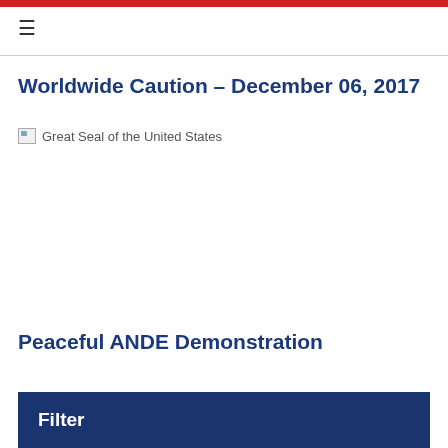≡
Worldwide Caution – December 06, 2017
[Figure (illustration): Broken image placeholder for Great Seal of the United States]
Peaceful ANDE Demonstration
Filter